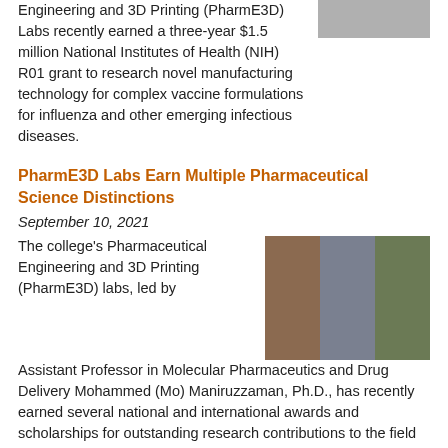Engineering and 3D Printing (PharmE3D) Labs recently earned a three-year $1.5 million National Institutes of Health (NIH) R01 grant to research novel manufacturing technology for complex vaccine formulations for influenza and other emerging infectious diseases.
[Figure (photo): Photo of a person (top right corner, partially visible)]
PharmE3D Labs Earn Multiple Pharmaceutical Science Distinctions
September 10, 2021
[Figure (photo): Three headshot photos of researchers side by side: Mohammed (Mo) Maniruzzaman and lab members]
The college's Pharmaceutical Engineering and 3D Printing (PharmE3D) labs, led by Assistant Professor in Molecular Pharmaceutics and Drug Delivery Mohammed (Mo) Maniruzzaman, Ph.D., has recently earned several national and international awards and scholarships for outstanding research contributions to the field of pharmaceutical science and technology.